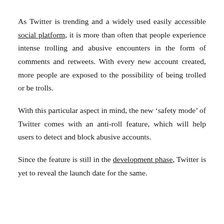As Twitter is trending and a widely used easily accessible social platform, it is more than often that people experience intense trolling and abusive encounters in the form of comments and retweets. With every new account created, more people are exposed to the possibility of being trolled or be trolls.
With this particular aspect in mind, the new 'safety mode' of Twitter comes with an anti-roll feature, which will help users to detect and block abusive accounts.
Since the feature is still in the development phase, Twitter is yet to reveal the launch date for the same.